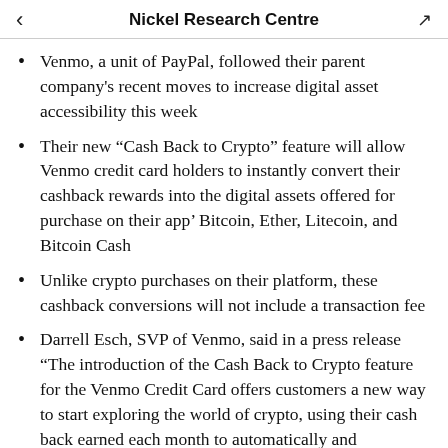Nickel Research Centre
Venmo, a unit of PayPal, followed their parent company's recent moves to increase digital asset accessibility this week
Their new “Cash Back to Crypto” feature will allow Venmo credit card holders to instantly convert their cashback rewards into the digital assets offered for purchase on their app’ Bitcoin, Ether, Litecoin, and Bitcoin Cash
Unlike crypto purchases on their platform, these cashback conversions will not include a transaction fee
Darrell Esch, SVP of Venmo, said in a press release “The introduction of the Cash Back to Crypto feature for the Venmo Credit Card offers customers a new way to start exploring the world of crypto, using their cash back earned each month to automatically and seamlessly purchase one of four cryptocurrencies on